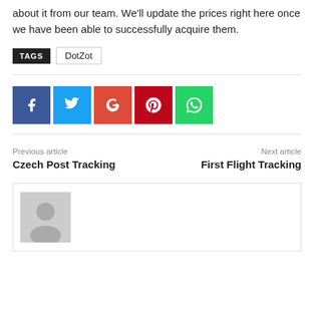about it from our team. We'll update the prices right here once we have been able to successfully acquire them.
TAGS  DotZot
[Figure (other): Social sharing buttons: Facebook (blue), Twitter (light blue), Google+ (red-orange), Pinterest (dark red), WhatsApp (green)]
Previous article
Czech Post Tracking
Next article
First Flight Tracking
[Figure (other): Author avatar placeholder - gray box with silhouette icon]